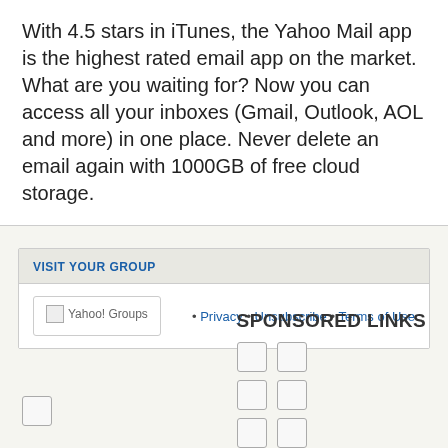With 4.5 stars in iTunes, the Yahoo Mail app is the highest rated email app on the market. What are you waiting for? Now you can access all your inboxes (Gmail, Outlook, AOL and more) in one place. Never delete an email again with 1000GB of free cloud storage.
VISIT YOUR GROUP
[Figure (logo): Yahoo! Groups logo (broken image placeholder)]
• Privacy • Unsubscribe • Terms of Use
SPONSORED LINKS